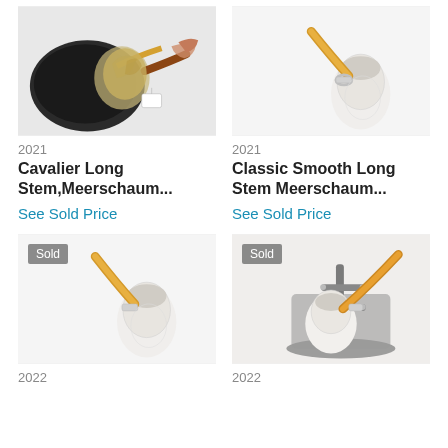[Figure (photo): Cavalier long stem Meerschaum pipe with decorative carving and case, 2021]
[Figure (photo): Classic Smooth Long Stem Meerschaum pipe with amber stem, 2021]
2021
2021
Cavalier Long Stem,Meerschaum...
Classic Smooth Long Stem Meerschaum...
See Sold Price
See Sold Price
[Figure (photo): Classic Smooth Long Stem Meerschaum pipe with amber stem, 2022, marked Sold]
[Figure (photo): Meerschaum pipe on stand with amber stem, 2022, marked Sold]
2022
2022